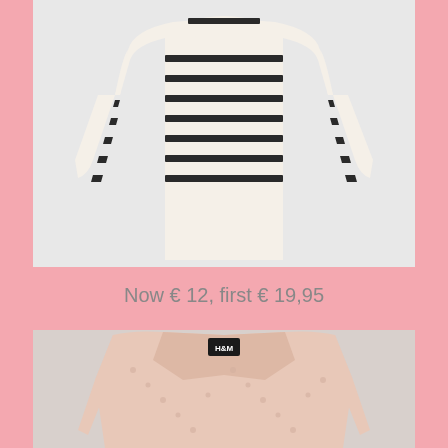[Figure (photo): Cream and black horizontal striped sweater/top with 3/4 sleeves, displayed flat against a light gray background]
Now € 12, first € 19,95
[Figure (photo): Light pink/blush fluffy/shaggy textured jacket or cardigan with H&M label, displayed flat against a light gray background]